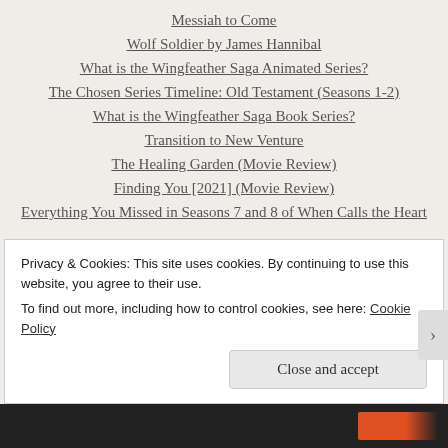Messiah to Come
Wolf Soldier by James Hannibal
What is the Wingfeather Saga Animated Series?
The Chosen Series Timeline: Old Testament (Seasons 1-2)
What is the Wingfeather Saga Book Series?
Transition to New Venture
The Healing Garden (Movie Review)
Finding You [2021] (Movie Review)
Everything You Missed in Seasons 7 and 8 of When Calls the Heart
SUBMIT YOUR BLOG IDEAS!
Privacy & Cookies: This site uses cookies. By continuing to use this website, you agree to their use.
To find out more, including how to control cookies, see here: Cookie Policy